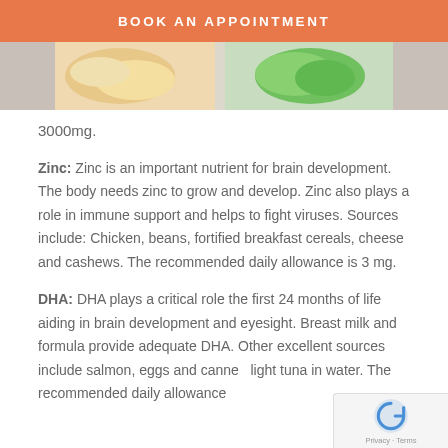BOOK AN APPOINTMENT
[Figure (photo): Partial view of food photos showing orange and green colored items on plates]
3000mg.
Zinc: Zinc is an important nutrient for brain development. The body needs zinc to grow and develop. Zinc also plays a role in immune support and helps to fight viruses. Sources include: Chicken, beans, fortified breakfast cereals, cheese and cashews. The recommended daily allowance is 3 mg.
DHA: DHA plays a critical role the first 24 months of life aiding in brain development and eyesight. Breast milk and formula provide adequate DHA. Other excellent sources include salmon, eggs and canned light tuna in water. The recommended daily allowance